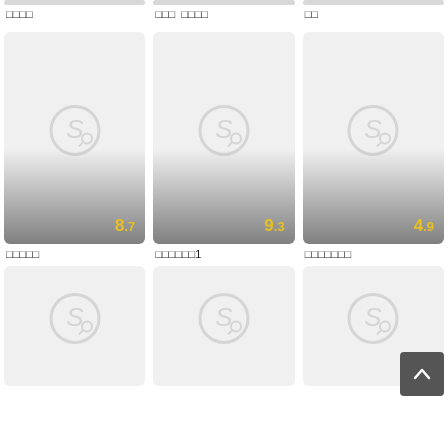[Figure (screenshot): Top partial row showing 3 content cards with Korean titles]
□□□□
□□□  □□□□
□□
[Figure (screenshot): Middle row of 3 content cards with placeholder S logo and ratings 8.7, 9.3, 4.9]
□□□□□
□□□□□□1
□□□□□□□
[Figure (screenshot): Bottom row of 3 content cards with placeholder S logo, partially visible]